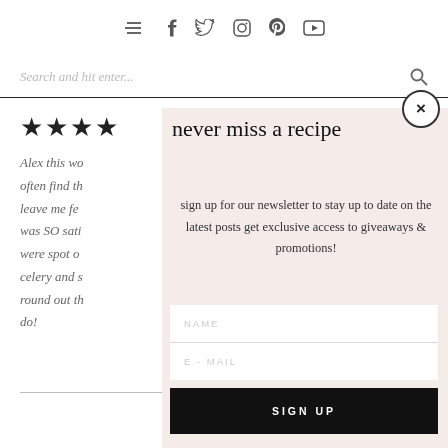Navigation bar with social icons: menu, facebook, twitter, instagram, pinterest, youtube
Search and hit enter...
★★★★
Alex this wo often find th leave me fe was SO sati were spot o celery and s round out th do!
never miss a recipe
sign up for our newsletter to stay up to date on the latest posts get exclusive access to giveaways & promotions!
NAME
E-MAIL
SIGN UP